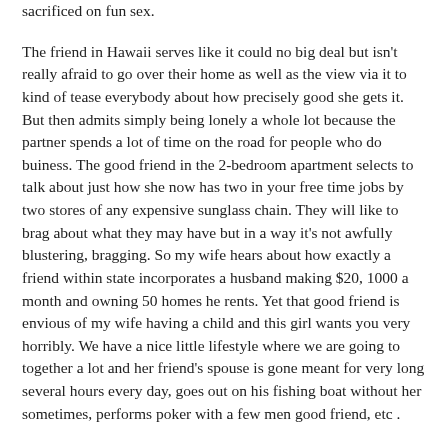sacrificed on fun sex.
The friend in Hawaii serves like it could no big deal but isn't really afraid to go over their home as well as the view via it to kind of tease everybody about how precisely good she gets it. But then admits simply being lonely a whole lot because the partner spends a lot of time on the road for people who do buiness. The good friend in the 2-bedroom apartment selects to talk about just how she now has two in your free time jobs by two stores of any expensive sunglass chain. They will like to brag about what they may have but in a way it's not awfully blustering, bragging. So my wife hears about how exactly a friend within state incorporates a husband making $20, 1000 a month and owning 50 homes he rents. Yet that good friend is envious of my wife having a child and this girl wants you very horribly. We have a nice little lifestyle where we are going to together a lot and her friend's spouse is gone meant for very long several hours every day, goes out on his fishing boat without her sometimes, performs poker with a few men good friend, etc .